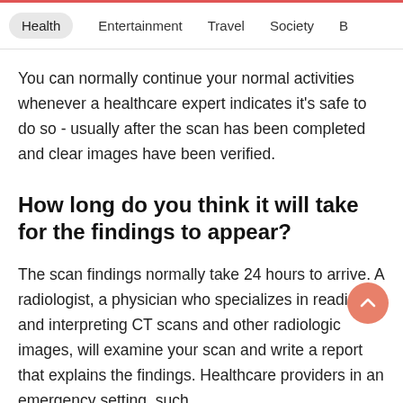Health  Entertainment  Travel  Society  B
You can normally continue your normal activities whenever a healthcare expert indicates it's safe to do so - usually after the scan has been completed and clear images have been verified.
How long do you think it will take for the findings to appear?
The scan findings normally take 24 hours to arrive. A radiologist, a physician who specializes in reading and interpreting CT scans and other radiologic images, will examine your scan and write a report that explains the findings. Healthcare providers in an emergency setting, such